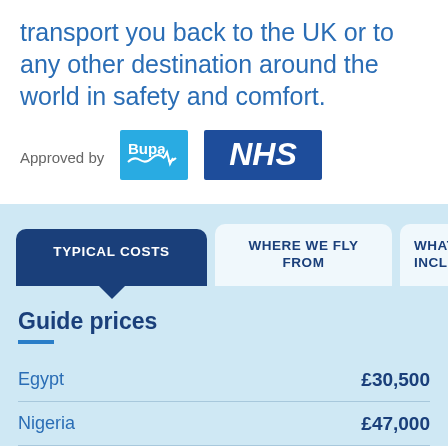transport you back to the UK or to any other destination around the world in safety and comfort.
Approved by
[Figure (logo): Bupa logo - blue square with Bupa text and heartbeat line]
[Figure (logo): NHS logo - dark blue rectangle with white bold NHS text]
TYPICAL COSTS
WHERE WE FLY FROM
WHAT DO... INCLU...
Guide prices
| Destination | Price |
| --- | --- |
| Egypt | £30,500 |
| Nigeria | £47,000 |